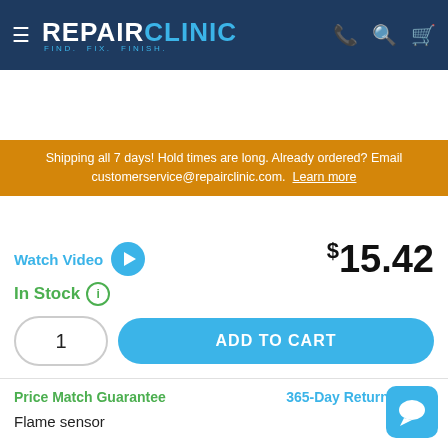REPAIR CLINIC — FIND. FIX. FINISH.
Shipping all 7 days! Hold times are long. Already ordered? Email customerservice@repairclinic.com. Learn more
[Figure (screenshot): Product image with grid/tile background showing RepairClinic.com watermark and a small part/component image]
Watch Video
$15.42
In Stock
1
ADD TO CART
Price Match Guarantee
365-Day Return Policy
Flame sensor